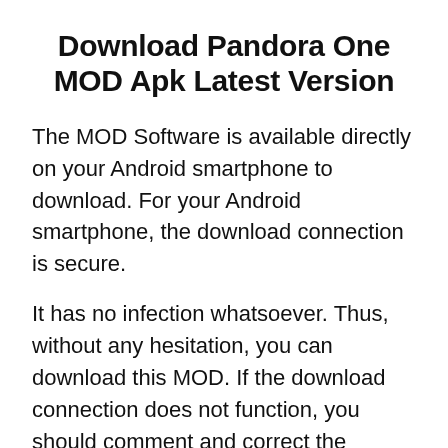Download Pandora One MOD Apk Latest Version
The MOD Software is available directly on your Android smartphone to download. For your Android smartphone, the download connection is secure.
It has no infection whatsoever. Thus, without any hesitation, you can download this MOD. If the download connection does not function, you should comment and correct the